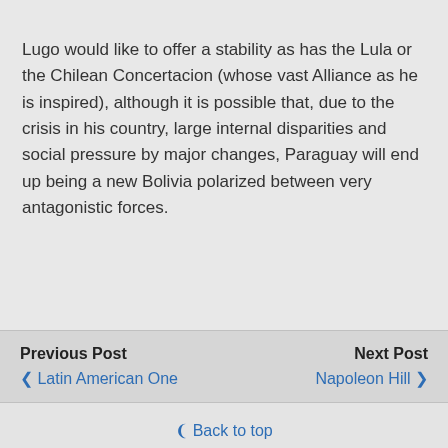Lugo would like to offer a stability as has the Lula or the Chilean Concertacion (whose vast Alliance as he is inspired), although it is possible that, due to the crisis in his country, large internal disparities and social pressure by major changes, Paraguay will end up being a new Bolivia polarized between very antagonistic forces.
Previous Post  < Latin American One    Next Post  Napoleon Hill >
↑ Back to top
Mobile  Desktop